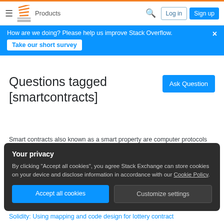≡  [Stack Overflow logo]  Products  🔍  Log in  Sign up
How are we doing? Please help us improve Stack Overflow.  ×  Take our short survey
Questions tagged [smartcontracts]
Ask Question
Smart contracts also known as a smart property are computer protocols that facilitate, verify, or enforce the negotiation or performance of a contract, or that make a contractual clause unnecessary.
Learn more…  Top users  Synonyms
Your privacy
By clicking "Accept all cookies", you agree Stack Exchange can store cookies on your device and disclose information in accordance with our Cookie Policy.
Accept all cookies  Customize settings
Solidity: Using mapping and code design for lottery contract